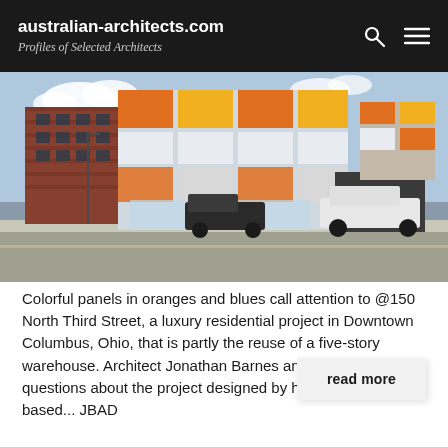australian-architects.com
Profiles of Selected Architects
[Figure (photo): Street-level photograph of @150 North Third Street building in Downtown Columbus, Ohio. A modern multi-story residential building with colorful orange and white exterior panels contrasts with an adjacent older red brick building on the left. Cars are parked on the street in front.]
Colorful panels in oranges and blues call attention to @150 North Third Street, a luxury residential project in Downtown Columbus, Ohio, that is partly the reuse of a five-story warehouse. Architect Jonathan Barnes answered a few questions about the project designed by his Columbus-based... JBAD
read more